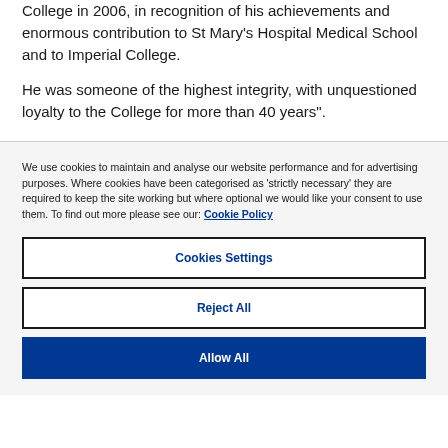College in 2006, in recognition of his achievements and enormous contribution to St Mary's Hospital Medical School and to Imperial College.
He was someone of the highest integrity, with unquestioned loyalty to the College for more than 40 years".
We use cookies to maintain and analyse our website performance and for advertising purposes. Where cookies have been categorised as 'strictly necessary' they are required to keep the site working but where optional we would like your consent to use them. To find out more please see our: Cookie Policy
Cookies Settings
Reject All